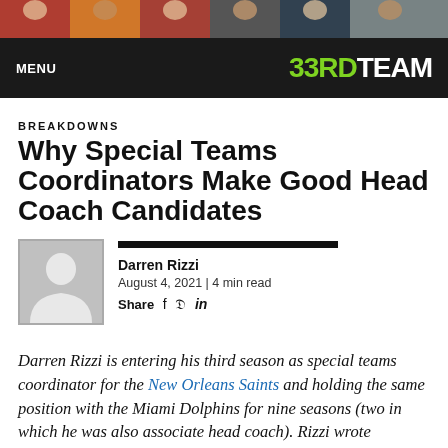[Figure (photo): Top banner with colorful sports player photos]
MENU  33RD TEAM
BREAKDOWNS
Why Special Teams Coordinators Make Good Head Coach Candidates
[Figure (photo): Author photo placeholder silhouette of Darren Rizzi]
Darren Rizzi
August 4, 2021 | 4 min read
Share f ✓ in
Darren Rizzi is entering his third season as special teams coordinator for the New Orleans Saints and holding the same position with the Miami Dolphins for nine seasons (two in which he was also associate head coach). Rizzi wrote